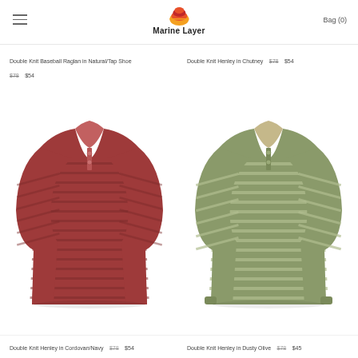Marine Layer  Bag (0)
Double Knit Baseball Raglan in Natural/Tap Shoe  $78  $54
Double Knit Henley in Chutney  $78  $54
[Figure (photo): Red/burgundy striped double knit henley long-sleeve shirt with buttons at collar, on white background]
[Figure (photo): Olive/sage green striped double knit henley long-sleeve shirt with buttons at collar, on white background]
Double Knit Henley in Cordovan/Navy  $78  $54
Double Knit Henley in Dusty Olive  $78  $45